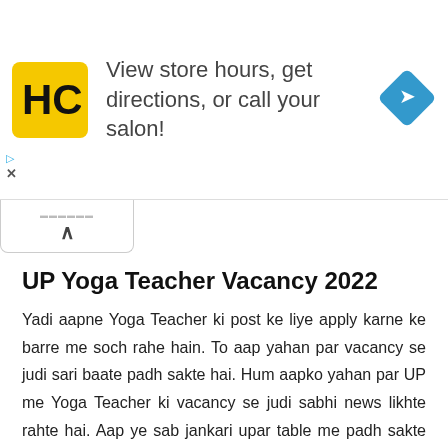[Figure (screenshot): Advertisement banner showing HC (Hair Club) logo, text 'View store hours, get directions, or call your salon!', navigation diamond icon, and ad controls]
UP Yoga Teacher Vacancy 2022
Yadi aapne Yoga Teacher ki post ke liye apply karne ke barre me soch rahe hain. To aap yahan par vacancy se judi sari baate padh sakte hai. Hum aapko yahan par UP me Yoga Teacher ki vacancy se judi sabhi news likhte rahte hai. Aap ye sab jankari upar table me padh sakte hai. Aap chahe to humse vacancy se jude questions bhi pooch sakte hai. Hmari team ki yuwa members aapko turant reply karegi. Hum aapko yahan par UP Yoga